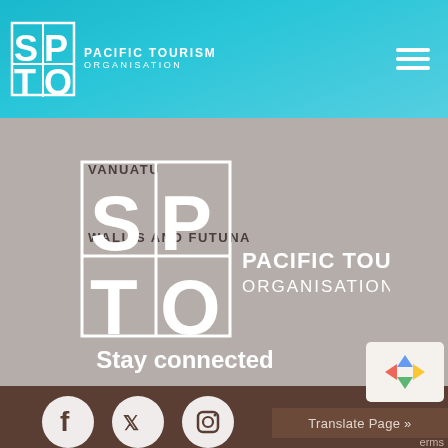[Figure (logo): SPTO Pacific Tourism Organisation logo in teal header bar with hamburger menu icon on right]
VANUATU
WALLIS AND FUTUNA
[Figure (logo): SPTO Pacific Tourism Organisation large logo on dark brown background]
Stay connected
[Figure (infographic): Social media icons: Facebook, Twitter, Instagram on dark brown background]
Translate Page »
[Figure (other): reCAPTCHA badge]